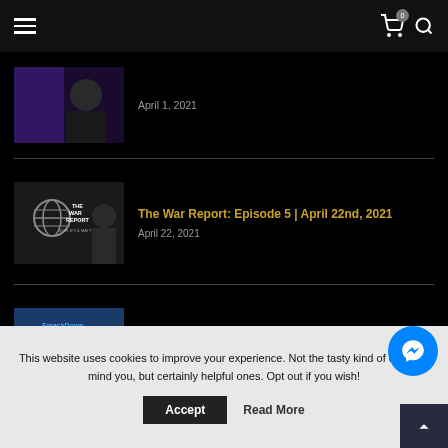Navigation header with hamburger menu, cart (0), and search icon
April 1, 2021
The War Report: Episode 5 | April 22nd, 2021
April 22, 2021
It's Time to Rethink the Women's Tag Team Championship
February 10, 2021
This website uses cookies to improve your experience. Not the tasty kind of cookies, mind you, but certainly helpful ones. Opt out if you wish!
Accept
Read More